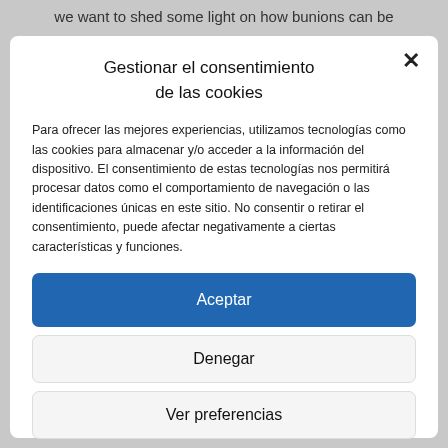we want to shed some light on how bunions can be
Gestionar el consentimiento de las cookies
Para ofrecer las mejores experiencias, utilizamos tecnologías como las cookies para almacenar y/o acceder a la información del dispositivo. El consentimiento de estas tecnologías nos permitirá procesar datos como el comportamiento de navegación o las identificaciones únicas en este sitio. No consentir o retirar el consentimiento, puede afectar negativamente a ciertas características y funciones.
Aceptar
Denegar
Ver preferencias
Política de cookies   Privacy Policy   Aviso Legal